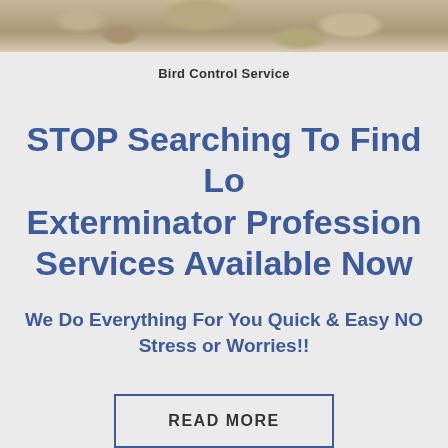[Figure (photo): Rocky stone surface texture at the top of the page]
Bird Control Service
STOP Searching To Find Lo Exterminator Professional Services Available Now
We Do Everything For You Quick & Easy NO Stress or Worries!!
READ MORE